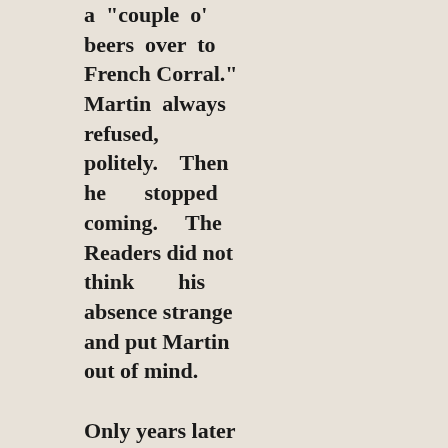a "couple o' beers over to French Corral." Martin always refused, politely. Then he stopped coming. The Readers did not think his absence strange and put Martin out of mind.

Only years later did the truth of the kindly Mr. Martin's identity come out. One day in November 1883, Jim Reader got an excited message from his former